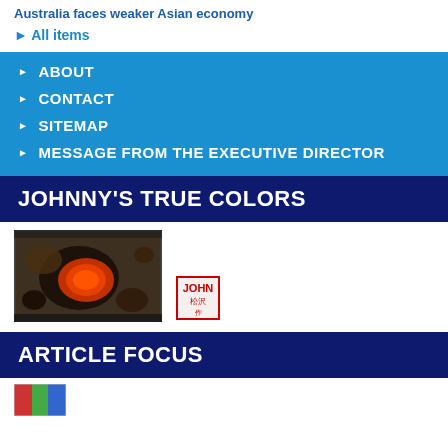Australia faces weaker Asian economy
All items
ABOUT
CONTACT
SITEMAP
MESSAGE FROM THE EXECUTIVE DIRECTOR
JOHNNY'S TRUE COLORS
[Figure (photo): Abstract artwork with orange shape on dark background]
[Figure (photo): Red square stamp with JOHN text and Chinese characters]
ARTICLE FOCUS
[Figure (photo): Small colorful image strip at bottom]